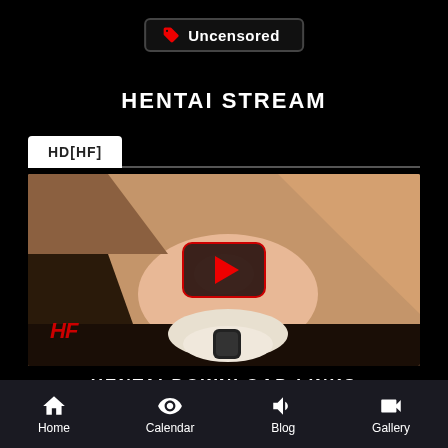Uncensored
HENTAI STREAM
HD[HF]
[Figure (screenshot): Video thumbnail with play button and HF watermark]
HENTAI DOWNLOAD LINKS
720P
Home  Calendar  Blog  Gallery